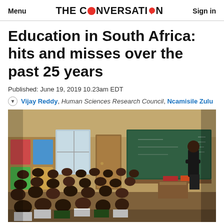Menu | THE CONVERSATION | Sign in
Education in South Africa: hits and misses over the past 25 years
Published: June 19, 2019 10.23am EDT
Vijay Reddy, Human Sciences Research Council, Ncamisile Zulu
[Figure (photo): A teacher stands at a green chalkboard at the front of a classroom packed with young students in school uniforms (white shirts, green sweaters) seated in rows, facing the teacher. Colorful educational posters decorate the walls. The setting appears to be a South African primary school classroom.]